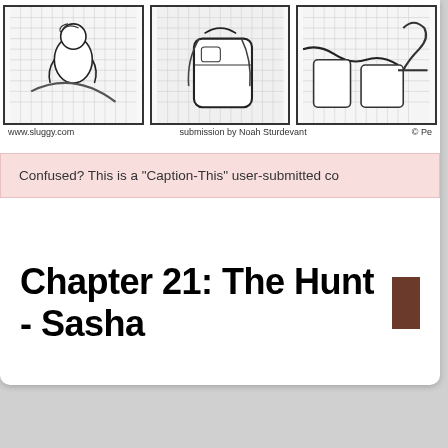[Figure (illustration): Three comic strip panels showing cartoon characters sitting, partially cropped at top of page. Black and white line art.]
www.sluggy.com    submission by Noah Sturdevant    © Pe
Confused? This is a "Caption-This" user-submitted co
Chapter 21: The Hunt - Sasha